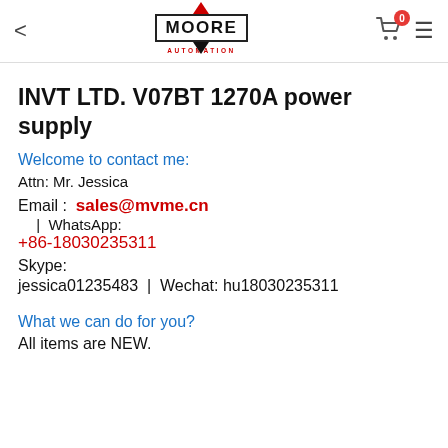< MOORE AUTOMATION [logo] 0 ≡
INVT LTD. V07BT 1270A power supply
Welcome to contact me:
Attn: Mr. Jessica
Email :  sales@mvme.cn  |  WhatsApp:
+86-18030235311
Skype:
jessica01235483  |  Wechat: hu18030235311
What we can do for you?
All items are NEW.